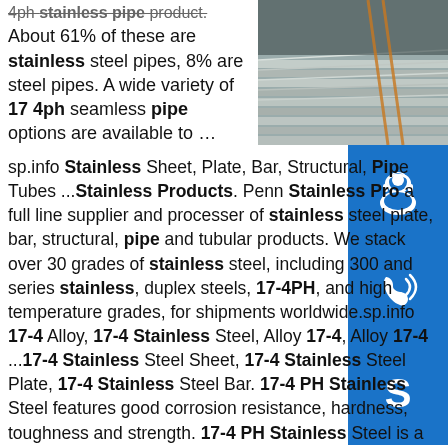4ph stainless pipe product. About 61% of these are stainless steel pipes, 8% are steel pipes. A wide variety of 17 4ph seamless pipe options are available to … sp.info Stainless Sheet, Plate, Bar, Structural, Pipe Tubes ...Stainless Products. Penn Stainless Pro a full line supplier and processer of stainless steel plate, bar, structural, pipe and tubular products. We stack over 30 grades of stainless steel, including 300 and series stainless, duplex steels, 17-4PH, and high temperature grades, for shipments worldwide.sp.info 17-4 Alloy, 17-4 Stainless Steel, Alloy 17-4, Alloy 17-4 ...17-4 Stainless Steel Sheet, 17-4 Stainless Steel Plate, 17-4 Stainless Steel Bar. 17-4 PH Stainless Steel features good corrosion resistance, hardness, toughness and strength. 17-4 PH Stainless Steel is a very widely used precipitation hardened alloy with a …sp.info 17-4 Stainless Steel Bar. 17-4PH CRES Condition A Bar...
[Figure (photo): Photo of stainless steel pipes/sheets stacked in a warehouse or industrial setting]